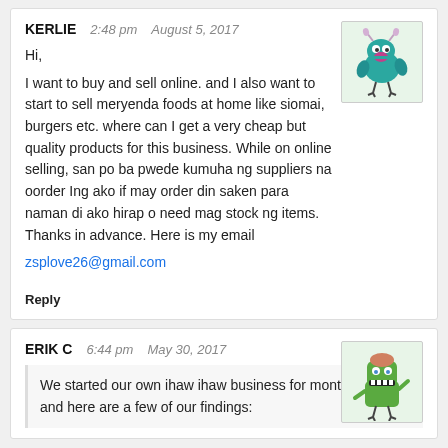KERLIE   2:48 pm   August 5, 2017
Hi,
I want to buy and sell online. and I also want to start to sell meryenda foods at home like siomai, burgers etc. where can I get a very cheap but quality products for this business. While on online selling, san po ba pwede kumuha ng suppliers na oorder Ing ako if may order din saken para naman di ako hirap o need mag stock ng items. Thanks in advance. Here is my email
zsplove26@gmail.com
Reply
ERIK C   6:44 pm   May 30, 2017
We started our own ihaw ihaw business for months now and here are a few of our findings: